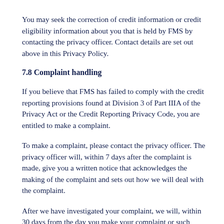You may seek the correction of credit information or credit eligibility information about you that is held by FMS by contacting the privacy officer. Contact details are set out above in this Privacy Policy.
7.8 Complaint handling
If you believe that FMS has failed to comply with the credit reporting provisions found at Division 3 of Part IIIA of the Privacy Act or the Credit Reporting Privacy Code, you are entitled to make a complaint.
To make a complaint, please contact the privacy officer. The privacy officer will, within 7 days after the complaint is made, give you a written notice that acknowledges the making of the complaint and sets out how we will deal with the complaint.
After we have investigated your complaint, we will, within 30 days from the day you make your complaint or such